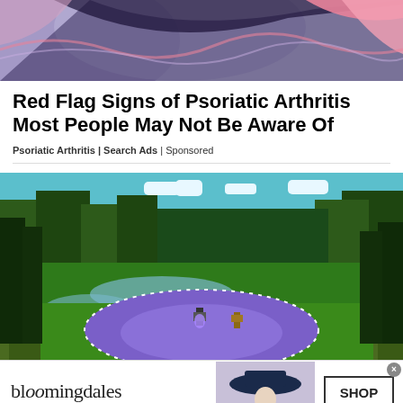[Figure (illustration): Abstract colorful illustration with purple, pink, blue and dark shapes - appears to be a decorative header image]
Red Flag Signs of Psoriatic Arthritis Most People May Not Be Aware Of
Psoriatic Arthritis | Search Ads | Sponsored
[Figure (screenshot): Minecraft-style video game screenshot showing a lush green forested landscape with tall trees, a purple circular area in the foreground with a character, and a bright sky in the background]
[Figure (photo): Bloomingdale's advertisement banner featuring the bloomingdales logo, tagline 'View Today's Top Deals!', a woman in a wide-brimmed hat, and a 'SHOP NOW >' button]